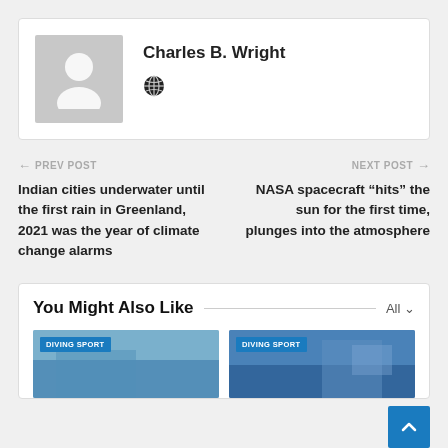Charles B. Wright
PREV POST
Indian cities underwater until the first rain in Greenland, 2021 was the year of climate change alarms
NEXT POST
NASA spacecraft “hits” the sun for the first time, plunges into the atmosphere
You Might Also Like
[Figure (photo): Diving sport thumbnail image left]
[Figure (photo): Diving sport thumbnail image right]